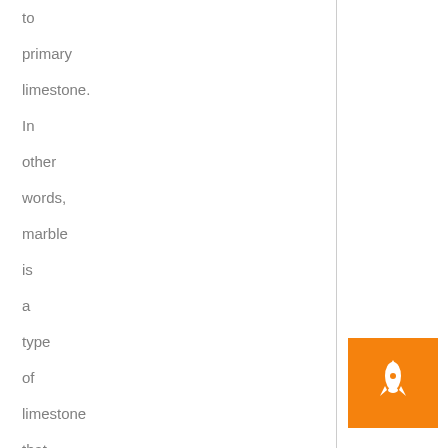to primary limestone. In other words, marble is a type of limestone that has changed over the years due to high pressure and heat. Natural marble is a hard stone.
[Figure (illustration): Orange square button with a white rocket/spaceship icon pointing upward]